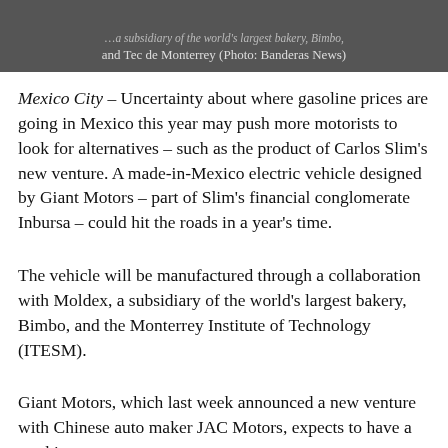[Figure (photo): Dark photo with caption bar showing text about Moldex, a subsidiary of the world's largest bakery, Bimbo, and Tec de Monterrey (Photo: Banderas News)]
Mexico City – Uncertainty about where gasoline prices are going in Mexico this year may push more motorists to look for alternatives – such as the product of Carlos Slim's new venture. A made-in-Mexico electric vehicle designed by Giant Motors – part of Slim's financial conglomerate Inbursa – could hit the roads in a year's time.
The vehicle will be manufactured through a collaboration with Moldex, a subsidiary of the world's largest bakery, Bimbo, and the Monterrey Institute of Technology (ITESM).
Giant Motors, which last week announced a new venture with Chinese auto maker JAC Motors, expects to have a working